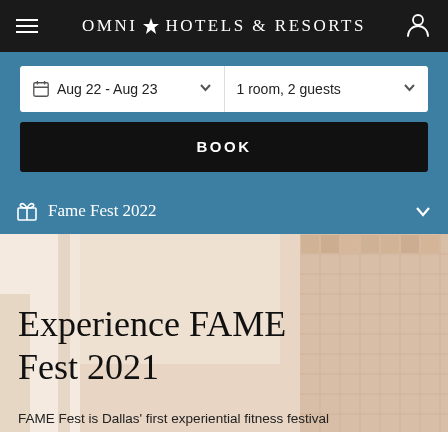Omni Hotels & Resorts
Aug 22 - Aug 23
1 room, 2 guests
BOOK
Fame Fest 2022
[Figure (photo): Interior hotel lobby or fitness facility with warm neutral tones, tiled wall visible on the right side]
Experience FAME Fest 2021
FAME Fest is Dallas' first experiential fitness festival